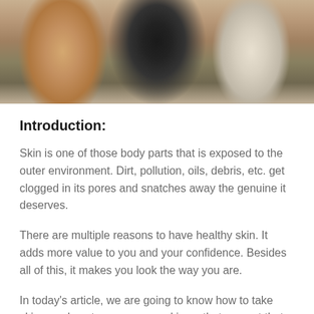[Figure (photo): Cropped photo of three women, showing their torsos and lower faces. One has blonde hair on the left, one in the center wears a black crop top, and one on the right wears a white top.]
Introduction:
Skin is one of those body parts that is exposed to the outer environment. Dirt, pollution, oils, debris, etc. get clogged in its pores and snatches away the genuine it deserves.
There are multiple reasons to have healthy skin. It adds more value to you and your confidence. Besides all of this, it makes you look the way you are.
In today's article, we are going to know how to take skincare, how to caress your skin so that you get that ever-good-looking charm.